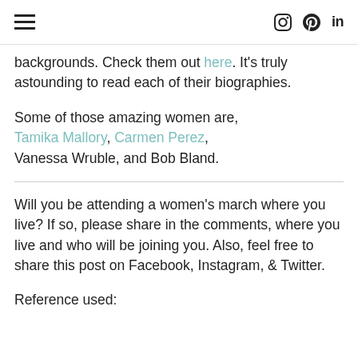≡  [instagram icon] [pinterest icon] in
backgrounds. Check them out here. It's truly astounding to read each of their biographies.
Some of those amazing women are, Tamika Mallory, Carmen Perez, Vanessa Wruble, and Bob Bland.
Will you be attending a women's march where you live? If so, please share in the comments, where you live and who will be joining you. Also, feel free to share this post on Facebook, Instagram, & Twitter.
Reference used: